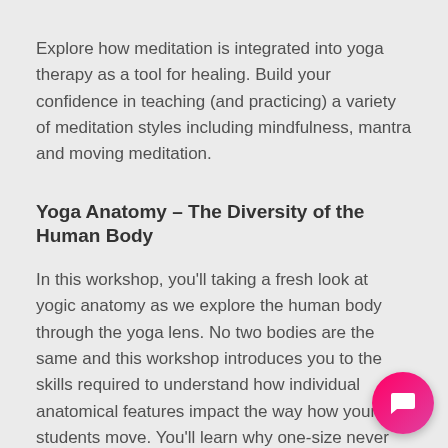Explore how meditation is integrated into yoga therapy as a tool for healing. Build your confidence in teaching (and practicing) a variety of meditation styles including mindfulness, mantra and moving meditation.
Yoga Anatomy – The Diversity of the Human Body
In this workshop, you'll taking a fresh look at yogic anatomy as we explore the human body through the yoga lens. No two bodies are the same and this workshop introduces you to the skills required to understand how individual anatomical features impact the way how your students move. You'll learn why one-size never fits all when it comes to Yoga Therapy and how to adapt what you teach to meet the individual anatomical features of each student.